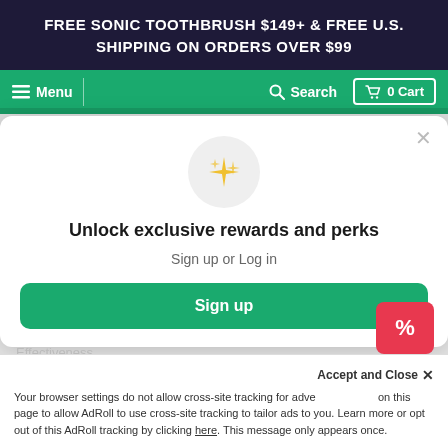FREE SONIC TOOTHBRUSH $149+ & FREE U.S. SHIPPING ON ORDERS OVER $99
Menu  Search  0 Cart
I recommend this product
Age Range
Unlock exclusive rewards and perks
Sign up or Log in
Sign up
Your browser settings do not allow cross-site tracking for advertising. Click Accept and Close on this page to allow AdRoll to use cross-site tracking to tailor ads to you. Learn more or opt out of this AdRoll tracking by clicking here. This message only appears once.
Effectiveness